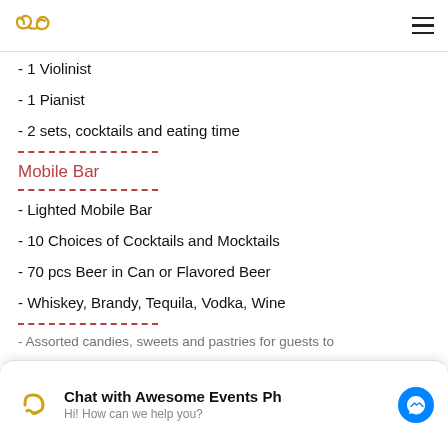Awesome Events Ph
- 1 Violinist
- 1 Pianist
- 2 sets, cocktails and eating time
Mobile Bar
- Lighted Mobile Bar
- 10 Choices of Cocktails and Mocktails
- 70 pcs Beer in Can or Flavored Beer
- Whiskey, Brandy, Tequila, Vodka, Wine
- Assorted candies, sweets and pastries for guests to…